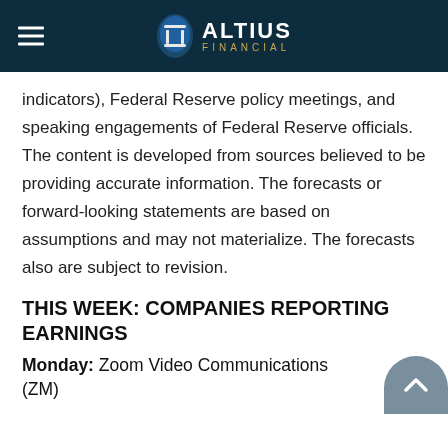ALTIUS FINANCIAL
indicators), Federal Reserve policy meetings, and speaking engagements of Federal Reserve officials. The content is developed from sources believed to be providing accurate information. The forecasts or forward-looking statements are based on assumptions and may not materialize. The forecasts also are subject to revision.
THIS WEEK: COMPANIES REPORTING EARNINGS
Monday: Zoom Video Communications (ZM)